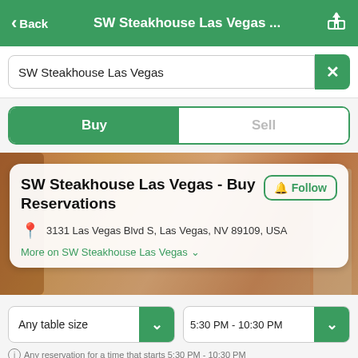Back  SW Steakhouse Las Vegas ...
SW Steakhouse Las Vegas
Buy  Sell
SW Steakhouse Las Vegas - Buy Reservations
3131 Las Vegas Blvd S, Las Vegas, NV 89109, USA
More on SW Steakhouse Las Vegas
Any table size
5:30 PM - 10:30 PM
Any reservation for a time that starts 5:30 PM - 10:30 PM